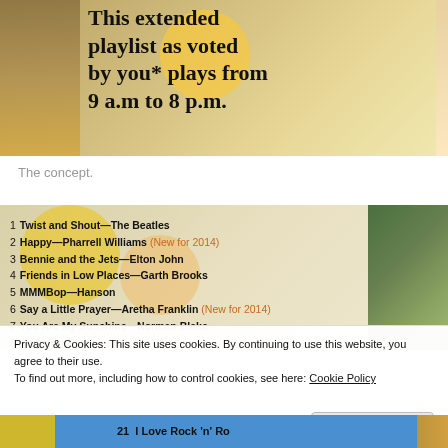[Figure (photo): Photo of a sign reading 'This extended playlist as voted by you* plays from 9 a.m to 8 p.m.' with yellow circle decorations and a shadow/person silhouette on the left side.]
The concept.
[Figure (photo): Photo of a numbered playlist on a decorative background with yellow and orange circles: 1 Twist and Shout—The Beatles, 2 Happy—Pharrell Williams (New for 2014), 3 Bennie and the Jets—Elton John, 4 Friends in Low Places—Garth Brooks, 5 MMMBop—Hanson, 6 Say a Little Prayer—Aretha Franklin (New for 2014), 7 You Are My Sunshine—Norman Blake, 8 Amazing Grace—Elvis Presley]
Privacy & Cookies: This site uses cookies. By continuing to use this website, you agree to their use.
To find out more, including how to control cookies, see here: Cookie Policy
[Figure (photo): Bottom strip showing partial text '21  I Love Rock 'n' Ro' with blue and yellow background sections.]